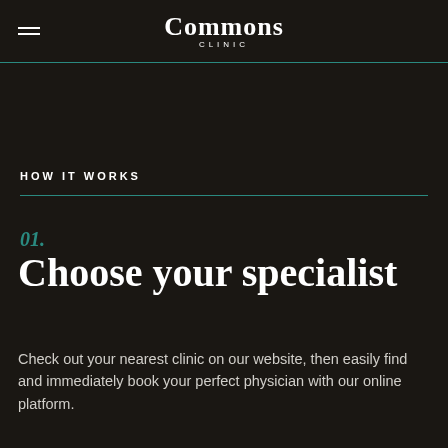Commons Clinic
HOW IT WORKS
01.
Choose your specialist
Check out your nearest clinic on our website, then easily find and immediately book your perfect physician with our online platform.